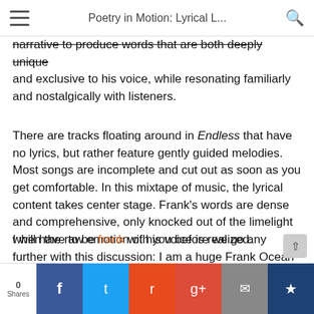Poetry in Motion: Lyrical L...
narrative to produce words that are both deeply unique and exclusive to his voice, while resonating familiarly and nostalgically with listeners.
There are tracks floating around in Endless that have no lyrics, but rather feature gently guided melodies. Most songs are incomplete and cut out as soon as you get comfortable. In this mixtape of music, the lyrical content takes center stage. Frank’s words are dense and comprehensive, only knocked out of the limelight when the raw emotion of his voice is realized.
I will have to be frank with you before we go any further with this discussion: I am a huge Frank Ocean fan. Quite possibly the hugest. Please don’t argue with me; it will not be d...